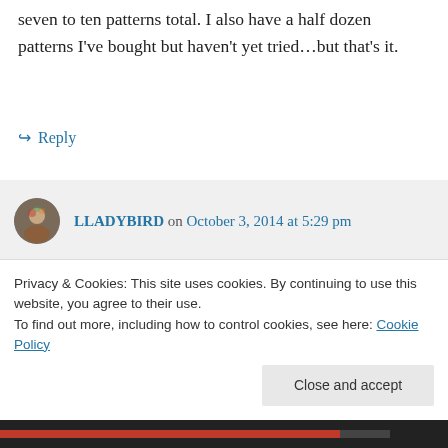seven to ten patterns total. I also have a half dozen patterns I've bought but haven't yet tried…but that's it.
↪ Reply
LLADYBIRD on October 3, 2014 at 5:29 pm
See, but I keep a lot of patterns for the instructions. So the tracing wouldn't work. Anyway, I like having piles of stuff...so
Privacy & Cookies: This site uses cookies. By continuing to use this website, you agree to their use.
To find out more, including how to control cookies, see here: Cookie Policy
Close and accept